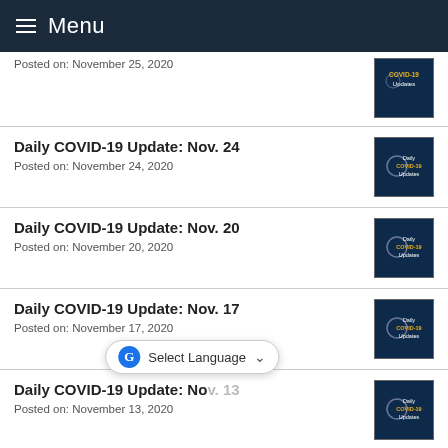Menu
Posted on: November 25, 2020
Daily COVID-19 Update: Nov. 24
Posted on: November 24, 2020
Daily COVID-19 Update: Nov. 20
Posted on: November 20, 2020
Daily COVID-19 Update: Nov. 17
Posted on: November 17, 2020
Daily COVID-19 Update: Nov. 13
Posted on: November 13, 2020